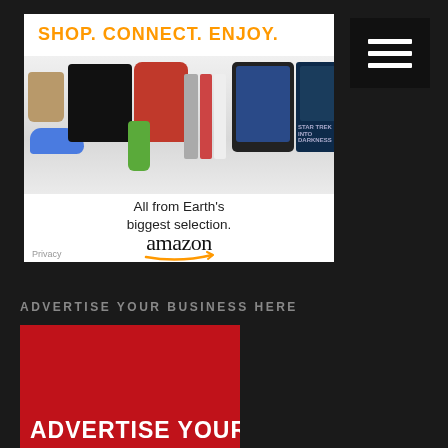[Figure (screenshot): Amazon advertisement banner showing products with text 'SHOP. CONNECT. ENJOY.' and 'All from Earth's biggest selection.' with Amazon logo and Privacy link]
ADVERTISE YOUR BUSINESS HERE
[Figure (infographic): Red banner advertisement box with text 'ADVERTISE YOUR' in white bold letters at the bottom]